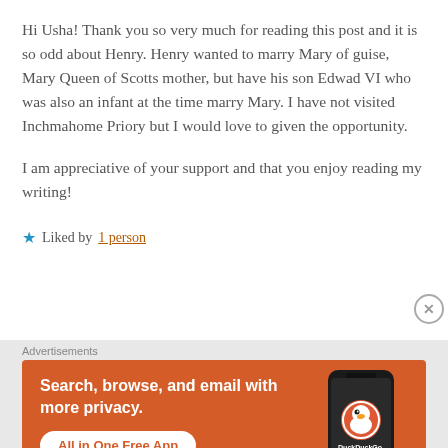Hi Usha! Thank you so very much for reading this post and it is so odd about Henry. Henry wanted to marry Mary of guise, Mary Queen of Scotts mother, but have his son Edwad VI who was also an infant at the time marry Mary. I have not visited Inchmahome Priory but I would love to given the opportunity.
I am appreciative of your support and that you enjoy reading my writing!
★ Liked by 1 person
[Figure (screenshot): DuckDuckGo advertisement banner on orange background with text 'Search, browse, and email with more privacy. All in One Free App' and a phone showing the DuckDuckGo logo]